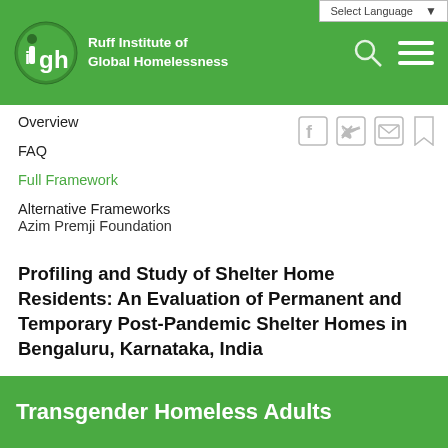Select Language
[Figure (logo): IGH - Ruff Institute of Global Homelessness logo with green circle containing 'igh' text, followed by organization name in white text on green background]
Overview
FAQ
Full Framework
Alternative Frameworks
Azim Premji Foundation
Profiling and Study of Shelter Home Residents: An Evaluation of Permanent and Temporary Post-Pandemic Shelter Homes in Bengaluru, Karnataka, India
Transgender Homeless Adults